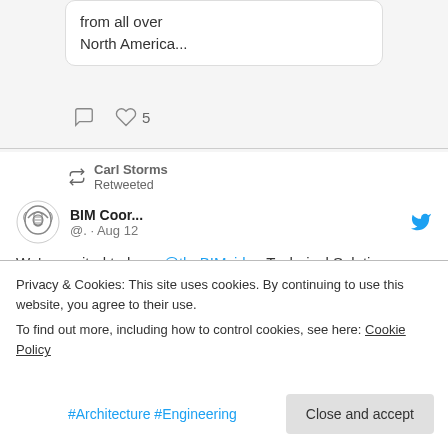from all over North America...
[Figure (screenshot): Comment and like icons with count 5]
[Figure (screenshot): Carl Storms Retweeted. BIM Coor... @.. · Aug 12. Profile avatar of BIM Coordinator. Twitter bird icon.]
We're excited to have @theBIMsider, Technical Solutions Lead at @BIMTrack, as a speaker for
Privacy & Cookies: This site uses cookies. By continuing to use this website, you agree to their use. To find out more, including how to control cookies, see here: Cookie Policy
Close and accept
#Architecture #Engineering